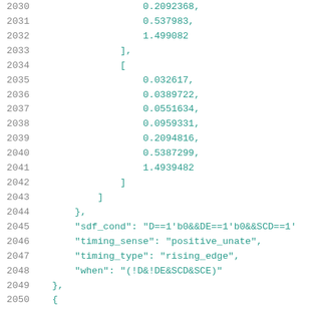Code listing lines 2030-2050 showing array values and JSON properties including sdf_cond, timing_sense, timing_type, when fields